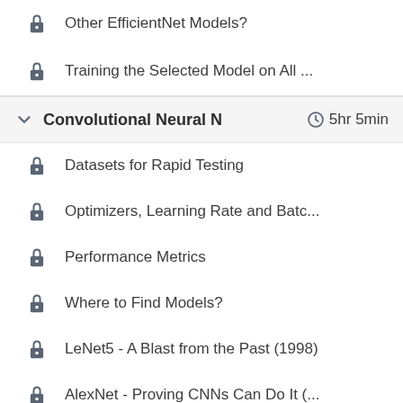Other EfficientNet Models?
Training the Selected Model on All ...
Convolutional Neural N... 5hr 5min
Datasets for Rapid Testing
Optimizers, Learning Rate and Batc...
Performance Metrics
Where to Find Models?
LeNet5 - A Blast from the Past (1998)
AlexNet - Proving CNNs Can Do It (...
VGGNet - Deeeeeeeeep Networks...